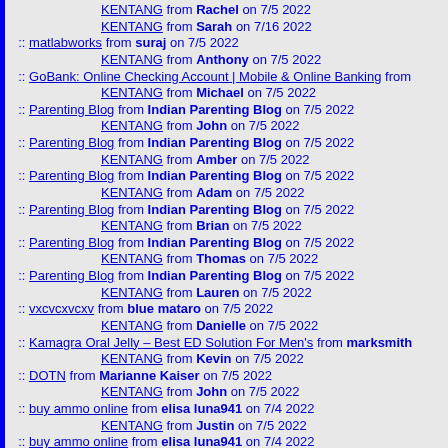KENTANG from Rachel on 7/5 2022
KENTANG from Sarah on 7/16 2022
:: matlabworks from suraj on 7/5 2022
KENTANG from Anthony on 7/5 2022
:: GoBank: Online Checking Account | Mobile & Online Banking from
KENTANG from Michael on 7/5 2022
:: Parenting Blog from Indian Parenting Blog on 7/5 2022
KENTANG from John on 7/5 2022
:: Parenting Blog from Indian Parenting Blog on 7/5 2022
KENTANG from Amber on 7/5 2022
:: Parenting Blog from Indian Parenting Blog on 7/5 2022
KENTANG from Adam on 7/5 2022
:: Parenting Blog from Indian Parenting Blog on 7/5 2022
KENTANG from Brian on 7/5 2022
:: Parenting Blog from Indian Parenting Blog on 7/5 2022
KENTANG from Thomas on 7/5 2022
:: Parenting Blog from Indian Parenting Blog on 7/5 2022
KENTANG from Lauren on 7/5 2022
:: vxcvcxvcxv from blue mataro on 7/5 2022
KENTANG from Danielle on 7/5 2022
:: Kamagra Oral Jelly – Best ED Solution For Men's from marksmith
KENTANG from Kevin on 7/5 2022
:: DOTN from Marianne Kaiser on 7/5 2022
KENTANG from John on 7/5 2022
:: buy ammo online from elisa luna941 on 7/4 2022
KENTANG from Justin on 7/5 2022
:: buy ammo online from elisa luna941 on 7/4 2022
KENTANG from William on 7/5 2022
:: turbo tergacor from turbo on 7/4 2022
KENTANG from Laura on 7/5 2022